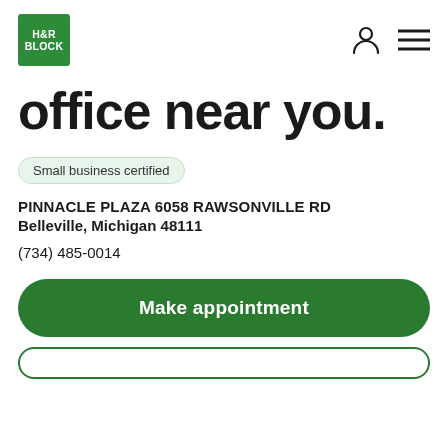H&R BLOCK logo, person icon, menu icon
office near you.
Small business certified
PINNACLE PLAZA 6058 RAWSONVILLE RD
Belleville, Michigan 48111
(734) 485-0014
Make appointment